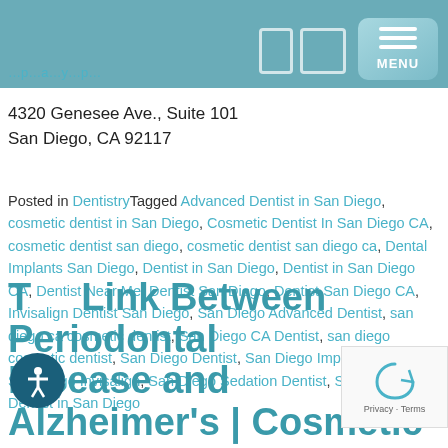4320 Genesee Ave., Suite 101
San Diego, CA 92117
Posted in DentistryTagged Advanced Dentist in San Diego, cosmetic dentist in San Diego, Cosmetic Dentist In San Diego CA, cosmetic dentist san diego, cosmetic dentist san diego ca, Dental Implants San Diego, Dentist in San Diego, Dentist in San Diego CA, Dentist Near Me, Dentist San Diego, Dentist San Diego CA, Invisalign Dentist San Diego, San Diego Advanced Dentist, san diego ca cosmetic dentist, San Diego CA Dentist, san diego cosmetic dentist, San Diego Dentist, San Diego Implant Dentist, San Diego Invisalign, San Diego Sedation Dentist, Sedation Dentist in San Diego
The Link Between Periodontal Disease and Alzheimer's | Cosmetic